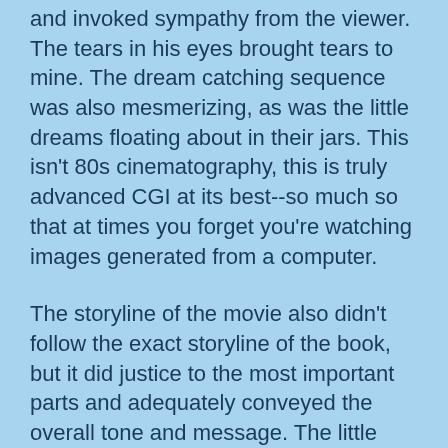and invoked sympathy from the viewer. The tears in his eyes brought tears to mine. The dream catching sequence was also mesmerizing, as was the little dreams floating about in their jars. This isn't 80s cinematography, this is truly advanced CGI at its best--so much so that at times you forget you're watching images generated from a computer.
The storyline of the movie also didn't follow the exact storyline of the book, but it did justice to the most important parts and adequately conveyed the overall tone and message. The little actress who played Sofie did wonderfully; especially since she probably spent the majority of the movie against a green screen acting as though